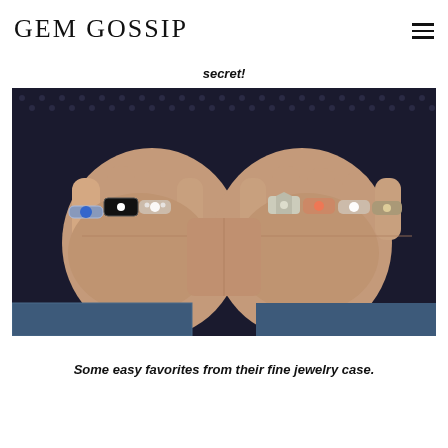GEM GOSSIP
secret!
[Figure (photo): Two hands clasped together wearing multiple antique/vintage rings including rings with blue stones, black enamel, diamonds, coral, and ornate metalwork, against a dark polka-dot patterned background]
Some easy favorites from their fine jewelry case.